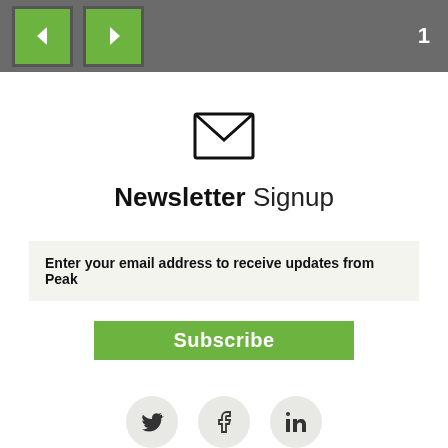Navigation controls, page 1
[Figure (illustration): Envelope/mail icon, outline style]
Newsletter Signup
Enter your email address to receive updates from Peak
Subscribe
[Figure (illustration): Social media icons: Twitter, Facebook, LinkedIn]